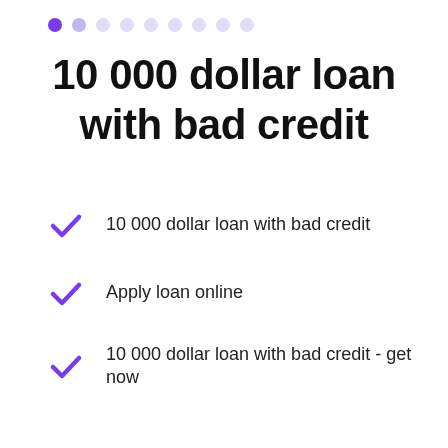[Figure (infographic): Navigation dots row: one filled purple dot followed by several lighter/faint purple dots indicating a multi-step or carousel indicator]
10 000 dollar loan with bad credit
10 000 dollar loan with bad credit
Apply loan online
10 000 dollar loan with bad credit - get now